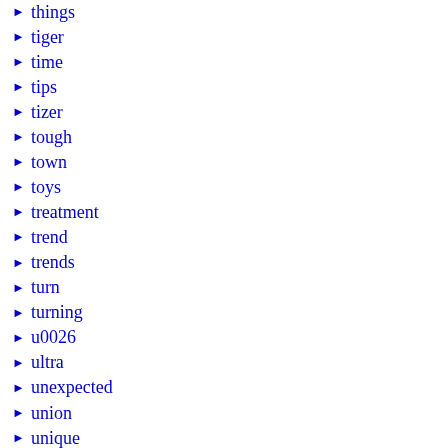things
tiger
time
tips
tizer
tough
town
toys
treatment
trend
trends
turn
turning
u0026
ultra
unexpected
union
unique
united
unopened
unrestored
used
using